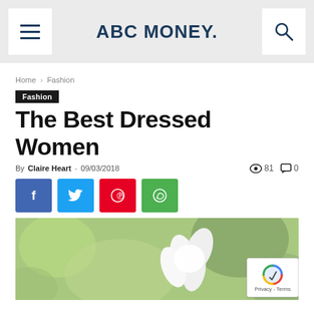ABC MONEY.
Home › Fashion
Fashion
The Best Dressed Women
By Claire Heart - 09/03/2018  👁 81  💬 0
[Figure (infographic): Social share buttons: Facebook, Twitter, Pinterest, WhatsApp]
[Figure (photo): Close-up photo of white flower on blurred green background, with reCAPTCHA badge overlay in bottom right corner]